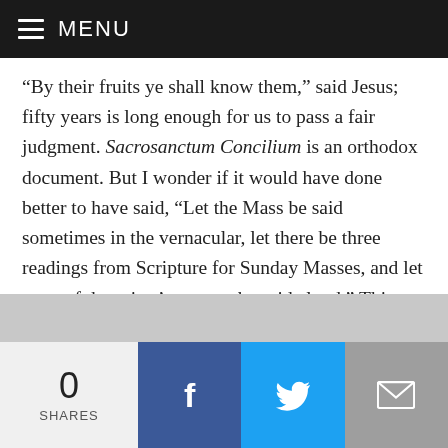MENU
“By their fruits ye shall know them,” said Jesus; fifty years is long enough for us to pass a fair judgment. Sacrosanctum Concilium is an orthodox document. But I wonder if it would have done better to have said, “Let the Mass be said sometimes in the vernacular, let there be three readings from Scripture for Sunday Masses, and let most of the priest’s prayers be said aloud.” This would have required no concession to modernist iconoclasm. Instead, we have endured fifty years of lousy church buildings, lousy music, lousy art, banal language, lousy schooling, dead and dying religious orders, and an